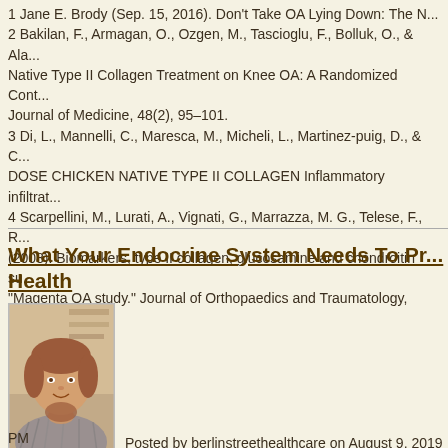1 Jane E. Brody (Sep. 15, 2016). Don't Take OA Lying Down: The N...
2 Bakilan, F., Armagan, O., Ozgen, M., Tascioglu, F., Bolluk, O., & Ala... Native Type II Collagen Treatment on Knee OA: A Randomized Cont... Journal of Medicine, 48(2), 95–101.
3 Di, L., Mannelli, C., Maresca, M., Micheli, L., Martinez-puig, D., & C... DOSE CHICKEN NATIVE TYPE II COLLAGEN Inflammatory infiltrat...
4 Scarpellini, M., Lurati, A., Vignati, G., Marrazza, M. G., Telese, F., R... (2008). Biomarkers, type II collagen, glucosamine and chondroitin su... "Magenta OA study." Journal of Orthopaedics and Traumatology, 9(2...
What Your Endocrine System Needs To Promote Health
[Figure (photo): Portrait photo of a woman with reddish-brown hair, smiling, wearing a patterned top, indoors with shelving in background]
Posted by berlinstreethealthcare on August 9, 2019 PM